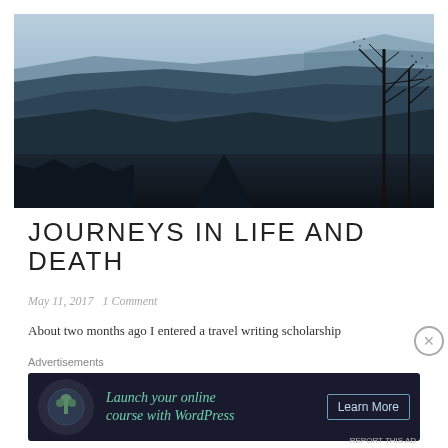[Figure (photo): Panoramic mountain landscape with layered blue ridges, valley below, bare trees on right side, misty sky above — viewed from a high elevation overlook.]
JOURNEYS IN LIFE AND DEATH
May 11, 2017   1 Comment
About two months ago I entered a travel writing scholarship
Advertisements
[Figure (infographic): Dark advertisement banner: WordPress tree logo icon on left, teal text 'Launch your online course with WordPress', 'Learn More' button on right.]